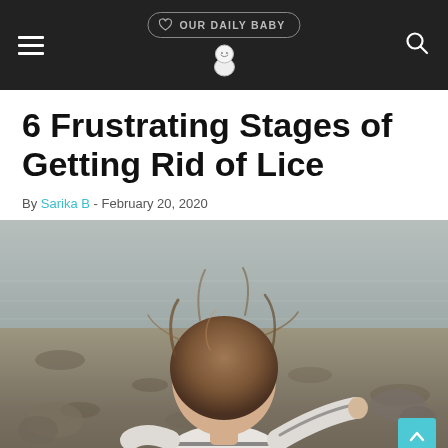OUR DAILY BABY
6 Frustrating Stages of Getting Rid of Lice
By Sarika B - February 20, 2020
[Figure (photo): Young girl with brown hair seen from behind, sitting outdoors near rocky ground and water, wearing a striped long-sleeve shirt]